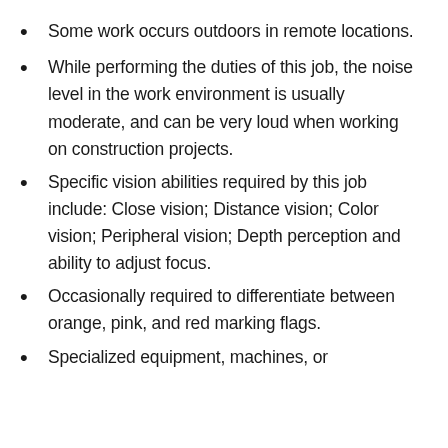Some work occurs outdoors in remote locations.
While performing the duties of this job, the noise level in the work environment is usually moderate, and can be very loud when working on construction projects.
Specific vision abilities required by this job include: Close vision; Distance vision; Color vision; Peripheral vision; Depth perception and ability to adjust focus.
Occasionally required to differentiate between orange, pink, and red marking flags.
Specialized equipment, machines, or